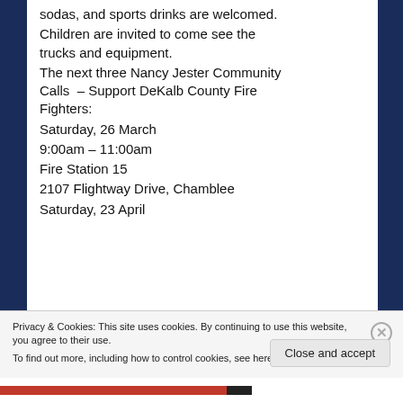sodas, and sports drinks are welcomed.
Children are invited to come see the trucks and equipment.
The next three Nancy Jester Community Calls  – Support DeKalb County Fire Fighters:
Saturday, 26 March
9:00am – 11:00am
Fire Station 15
2107 Flightway Drive, Chamblee
Saturday, 23 April
Privacy & Cookies: This site uses cookies. By continuing to use this website, you agree to their use. To find out more, including how to control cookies, see here: Cookie Policy
Close and accept